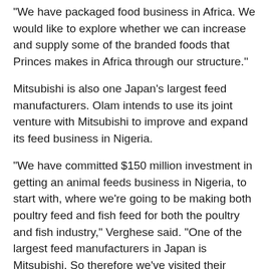“We have packaged food business in Africa. We would like to explore whether we can increase and supply some of the branded foods that Princes makes in Africa through our structure.”
Mitsubishi is also one Japan’s largest feed manufacturers. Olam intends to use its joint venture with Mitsubishi to improve and expand its feed business in Nigeria.
“We have committed $150 million investment in getting an animal feeds business in Nigeria, to start with, where we’re going to be making both poultry feed and fish feed for both the poultry and fish industry,” Verghese said. “One of the largest feed manufacturers in Japan is Mitsubishi. So therefore we’ve visited their facilities and we’re taking help from them as we expand into animal feed manufacturing in Africa.”
Mitsubishi and Olam’s partnership committee is looking into the possibilities of these opportunities and areas of